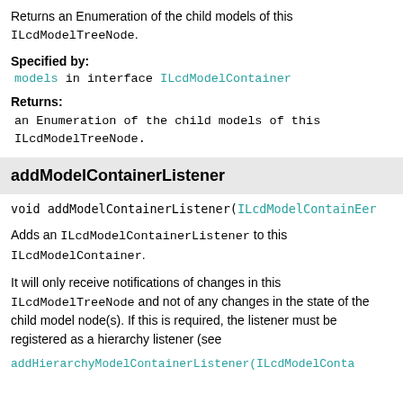Returns an Enumeration of the child models of this ILcdModelTreeNode.
Specified by:
models in interface ILcdModelContainer
Returns:
an Enumeration of the child models of this ILcdModelTreeNode.
addModelContainerListener
void addModelContainerListener(ILcdModelContaine...
Adds an ILcdModelContainerListener to this ILcdModelContainer.
It will only receive notifications of changes in this ILcdModelTreeNode and not of any changes in the state of the child model node(s). If this is required, the listener must be registered as a hierarchy listener (see
addHierarchyModelContainerListener(ILcdModelConta...